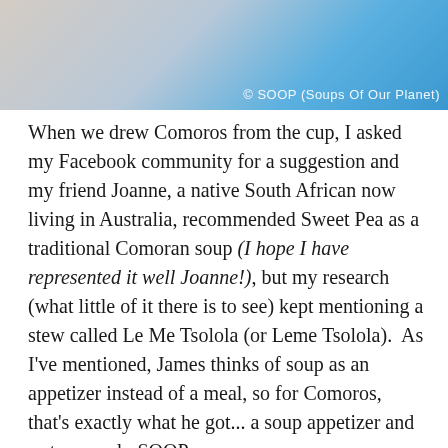[Figure (photo): Partial photo strip at top of page showing a person in a blue top against a light background, with a watermark reading '© SOOP (Soups Of Our Planet)']
When we drew Comoros from the cup, I asked my Facebook community for a suggestion and my friend Joanne, a native South African now living in Australia, recommended Sweet Pea as a traditional Comoran soup (I hope I have represented it well Joanne!), but my research (what little of it there is to see) kept mentioning a stew called Le Me Tsolola (or Leme Tsolola).  As I've mentioned, James thinks of soup as an appetizer instead of a meal, so for Comoros, that's exactly what he got... a soup appetizer and a stew meal.  SOOP-o-rama.
Our friends braved the bridge to join us, but not before I sent them on a wild goose chase for jackfruit